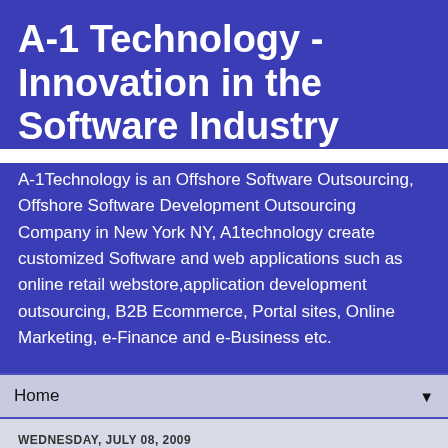A-1 Technology - Innovation in the Software Industry
A-1Technology is an Offshore Software Outsourcing, Offshore Software Development Outsourcing Company in New York NY, A1technology create customized Software and web applications such as online retail webstore,application development outsourcing, B2B Ecommerce, Portal sites, Online Marketing, e-Finance and e-Business etc.
Home ▼
WEDNESDAY, JULY 08, 2009
Gmail shed beta label
Gmail has worn the